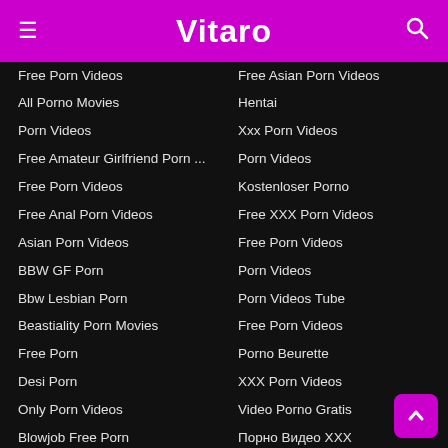Vitaro
Free Porn Videos
All Porno Movies
Porn Videos
Free Amateur Girlfriend Porn ...
Free Porn Videos
Free Anal Porn Videos
Asian Porn Videos
BBW GF Porn
Bbw Lesbian Porn
Beastiality Porn Movies
Free Porn
Desi Porn
Only Porn Videos
Blowjob Free Porn
Bukkake Free Porn
Pornhub
Chubby Free Porn
Clit Licking Lesbian Porn
Cosplay Free Porn Videos
Creampie Porn Tube
Free Asian Porn Videos
Hentai
Xxx Porn Videos
Porn Videos
Kostenloser Porno
Free XXX Porn Videos
Free Porn Videos
Porn Videos
Porn Videos Tube
Free Porn Videos
Porno Beurette
XXX Porn Videos
Video Porno Gratis
Порно Видео XXX
Bedava Porno Videolar
Лучшие Порно Видео
Videos Porno Gratis
Porn Tube
Porn Videos
Hentai Porn Videos